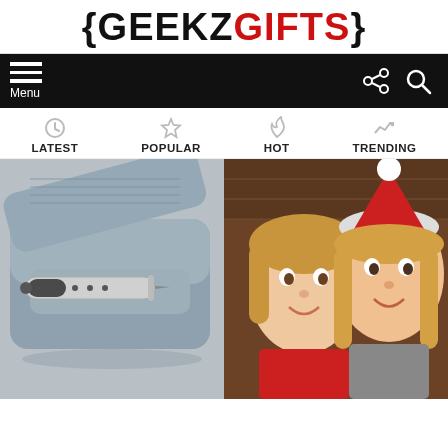[Figure (logo): GeekzGifts logo with curly braces, GEEKZ in black and GIFTS in red]
[Figure (screenshot): Navigation bar with hamburger menu on left (Menu label), share and search icons on right, black background]
[Figure (screenshot): Category navigation with LATEST, POPULAR, HOT, TRENDING icons and labels]
[Figure (photo): Spy pen / stylus pen in gray case, product photo]
[Figure (photo): Two girls in Christmas attire smiling, holiday photo]